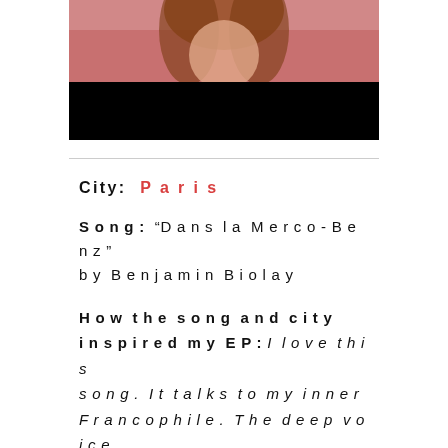[Figure (photo): A cropped photo showing the top portion of a person against a pink background, with a black band at the bottom of the image.]
City:  Paris
Song:  “Dans la Merco-Benz” by Benjamin Biolay
How the song and city inspired my EP:  I love this song. It talks to my inner Francophile. The deep voice of Benjamin, the textures of the sonics – everything perfectly soundtracks a trip through Paris. It was also the the first I heard from